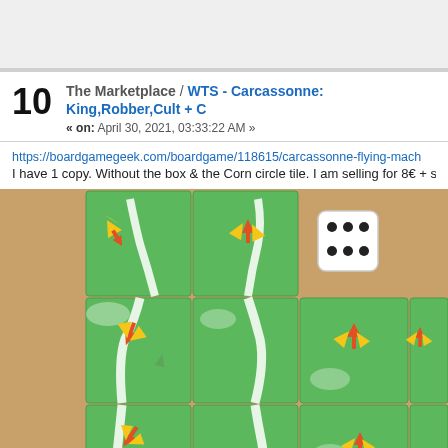10  The Marketplace / WTS - Carcassonne: King,Robber,Cult + C
« on: April 30, 2021, 03:33:22 AM »
https://boardgamegeek.com/boardgame/118615/carcassonne-flying-mach
I have 1 copy. Without the box & the Corn circle tile. I am selling for 8€ + s
[Figure (photo): Photograph of Carcassonne board game tiles arranged in a grid on a wooden table, showing green landscape tiles with white river paths and yellow/red flying machine meeple tokens, with a white die showing three dots visible in the upper right corner.]